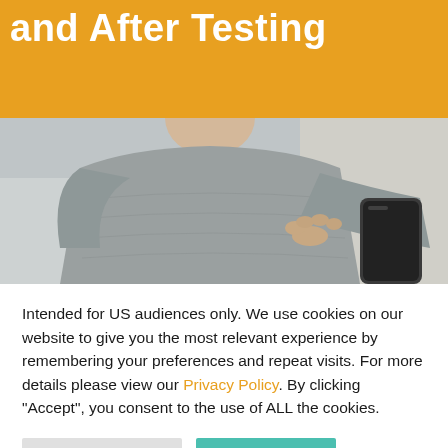and After Testing
[Figure (photo): Person wearing a gray knit sweater holding a smartphone, sitting on a light-colored couch, viewed from the neck down]
Intended for US audiences only. We use cookies on our website to give you the most relevant experience by remembering your preferences and repeat visits. For more details please view our Privacy Policy. By clicking “Accept”, you consent to the use of ALL the cookies.
Cookie Settings
Accept All